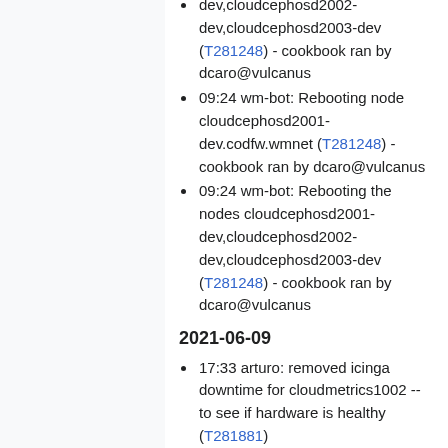dev,cloudcephosd2002-dev,cloudcephosd2003-dev (T281248) - cookbook ran by dcaro@vulcanus
09:24 wm-bot: Rebooting node cloudcephosd2001-dev.codfw.wmnet (T281248) - cookbook ran by dcaro@vulcanus
09:24 wm-bot: Rebooting the nodes cloudcephosd2001-dev,cloudcephosd2002-dev,cloudcephosd2003-dev (T281248) - cookbook ran by dcaro@vulcanus
2021-06-09
17:33 arturo: removed icinga downtime for cloudmetrics1002 -- to see if hardware is healthy (T281881)
13:30 wm-bot: Finished rebooting the